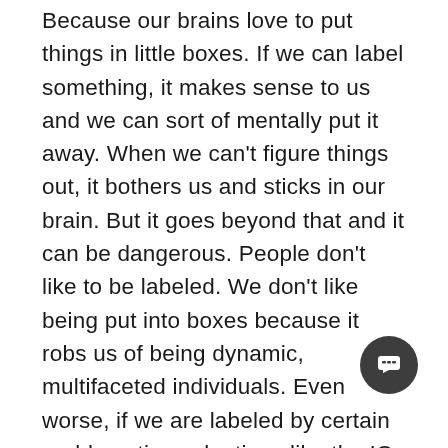Because our brains love to put things in little boxes. If we can label something, it makes sense to us and we can sort of mentally put it away. When we can't figure things out, it bothers us and sticks in our brain. But it goes beyond that and it can be dangerous. People don't like to be labeled. We don't like being put into boxes because it robs us of being dynamic, multifaceted individuals. Even worse, if we are labeled by certain problematic evaluations like the IQ test, our entire futures can be affected adversely. For an excellent rant about this topic, you should listen to episode 17 of one of my favorite podcasts: Science! With Friends. In this episode, Brad and Jocelyn discuss the issues we face when we try too hard to measure things like